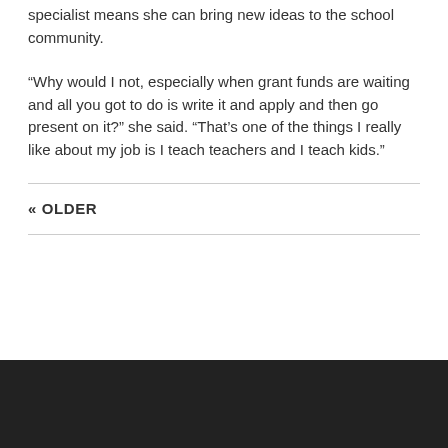specialist means she can bring new ideas to the school community.
“Why would I not, especially when grant funds are waiting and all you got to do is write it and apply and then go present on it?” she said. “That’s one of the things I really like about my job is I teach teachers and I teach kids.”
« OLDER